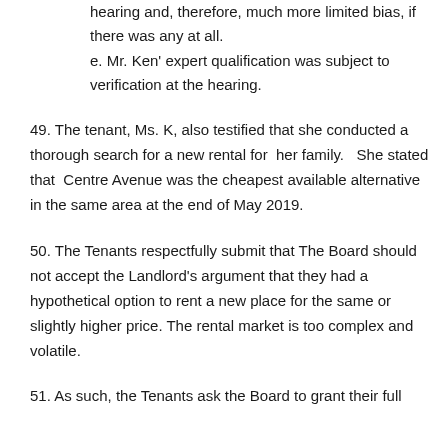hearing and, therefore, much more limited bias, if there was any at all.
e. Mr. Ken' expert qualification was subject to verification at the hearing.
49. The tenant, Ms. K, also testified that she conducted a thorough search for a new rental for her family.   She stated that  Centre Avenue was the cheapest available alternative in the same area at the end of May 2019.
50. The Tenants respectfully submit that The Board should not accept the Landlord's argument that they had a hypothetical option to rent a new place for the same or slightly higher price. The rental market is too complex and volatile.
51. As such, the Tenants ask the Board to grant their full